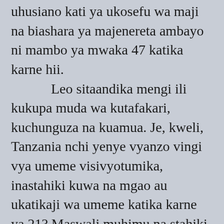uhusiano kati ya ukosefu wa maji na biashara ya majenereta ambayo ni mambo ya mwaka 47 katika karne hii. Leo sitaandika mengi ili kukupa muda wa kutafakari, kuchunguza na kuamua. Je, kweli, Tanzania nchi yenye vyanzo vingi vya umeme visivyotumika, inastahiki kuwa na mgao au ukatikaji wa umeme katika karne ya 21? Maswali muhimu na stahiki ya kujiuliza ni: kwanini sasa na nini kifanyike kuyapatia majibu sahihi na haraka ili kuepuka ngoa na sintofahamu zinazoendelea? Je hii inajenga mazingira gani na matokeo yake ni nini kwako na kwa taifa? Sipendi kutoa fursa ya